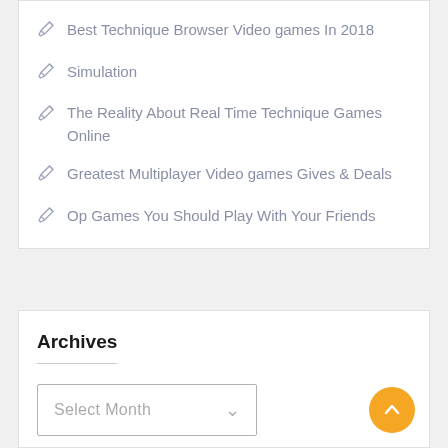Best Technique Browser Video games In 2018
Simulation
The Reality About Real Time Technique Games Online
Greatest Multiplayer Video games Gives & Deals
Op Games You Should Play With Your Friends
Archives
Select Month